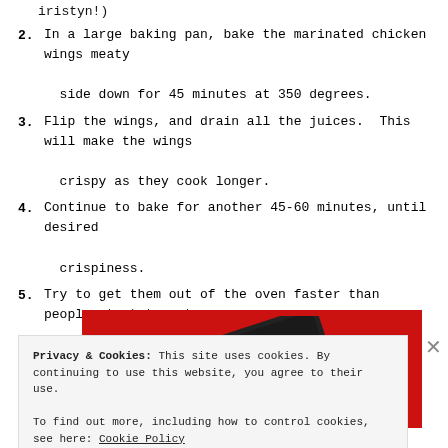2. In a large baking pan, bake the marinated chicken wings meaty side down for 45 minutes at 350 degrees.
3. Flip the wings, and drain all the juices.  This will make the wings crispy as they cook longer.
4. Continue to bake for another 45-60 minutes, until desired crispiness.
5. Try to get them out of the oven faster than people start to eat them!
[Figure (photo): A red smartphone with a dark screen showing camera controls, against a red background]
Privacy & Cookies: This site uses cookies. By continuing to use this website, you agree to their use.
To find out more, including how to control cookies, see here: Cookie Policy
Close and accept